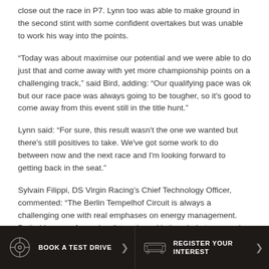close out the race in P7. Lynn too was able to make ground in the second stint with some confident overtakes but was unable to work his way into the points.
“Today was about maximise our potential and we were able to do just that and come away with yet more championship points on a challenging track,” said Bird, adding: “Our qualifying pace was ok but our race pace was always going to be tougher, so it's good to come away from this event still in the title hunt.”
Lynn said: “For sure, this result wasn't the one we wanted but there's still positives to take. We've got some work to do between now and the next race and I'm looking forward to getting back in the seat.”
Sylvain Filippi, DS Virgin Racing’s Chief Technology Officer, commented: “The Berlin Tempelhof Circuit is always a challenging one with real emphases on energy management. Both drivers performed well together with the whole team, and it’s great Sam
BOOK A TEST DRIVE | REGISTER YOUR INTEREST